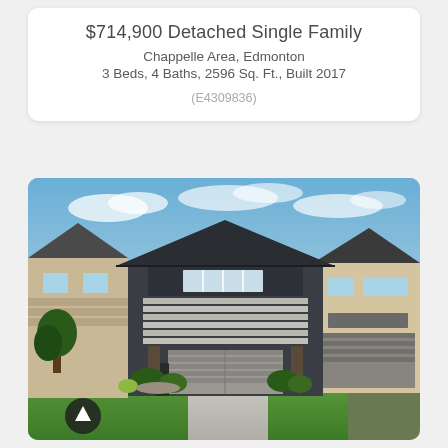$714,900 Detached Single Family
Chappelle Area, Edmonton
3 Beds, 4 Baths, 2596 Sq. Ft., Built 2017
(E4309836)
[Figure (photo): Exterior photo of a two-storey detached single family home in Chappelle Area, Edmonton. The house features dark grey/charcoal siding with horizontal light grey accent panels, a double attached garage with a wide concrete driveway, well-landscaped front yard with green lawn and shrubs, blue sky with light clouds in background, and neighboring homes visible on both sides.]